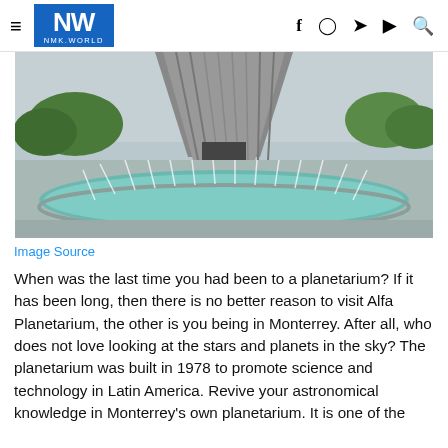NW NMK.WORLD — social icons: f, instagram, twitter, youtube, search
[Figure (photo): Exterior photo of Alfa Planetarium in Monterrey showing the large conical concrete tower structure with a circular fountain pool in the foreground, trees visible in background, overcast sky.]
Image Source
When was the last time you had been to a planetarium? If it has been long, then there is no better reason to visit Alfa Planetarium, the other is you being in Monterrey. After all, who does not love looking at the stars and planets in the sky? The planetarium was built in 1978 to promote science and technology in Latin America. Revive your astronomical knowledge in Monterrey's own planetarium. It is one of the